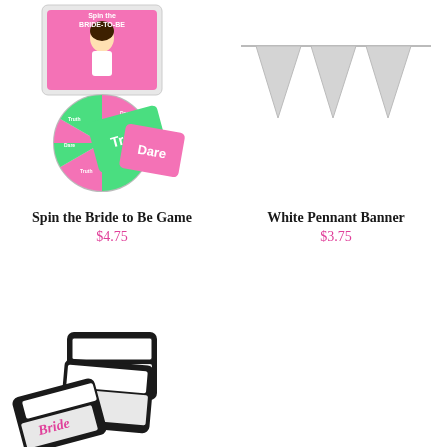[Figure (photo): Spin the Bride to Be Game product photo showing board game box, spinner wheel, and dare/truth cards in pink and green]
Spin the Bride to Be Game
$4.75
[Figure (photo): White Pennant Banner product photo showing three white triangular pennants on a string against white background]
White Pennant Banner
$3.75
[Figure (photo): Drink tags/labels product photo showing black bordered cards reading THIS DRINK BELONGS TO with one featuring Bride in pink script]